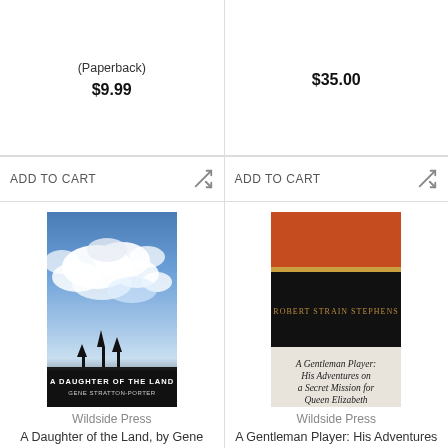(Paperback)
$9.99
$35.00
ADD TO CART
ADD TO CART
[Figure (photo): Book cover of 'A Daughter of the Land' by Gene Stratton-Porter, showing a dramatic sky with clouds and silhouetted trees/buildings at bottom]
[Figure (photo): Book cover of 'A Gentleman Player' by Robert Strain Stephens, showing red-orange and black horizontal stripes with author name in gold text, and italic title text below]
Wildside Press
A Daughter of the Land, by Gene Stratton-Porter (trade pb)
$19.95
Wildside Press
A Gentleman Player: His Adventures on a Secret Mission for Queen Elizabeth, by Robert Neilson Stephens (Paperback)
$14.00